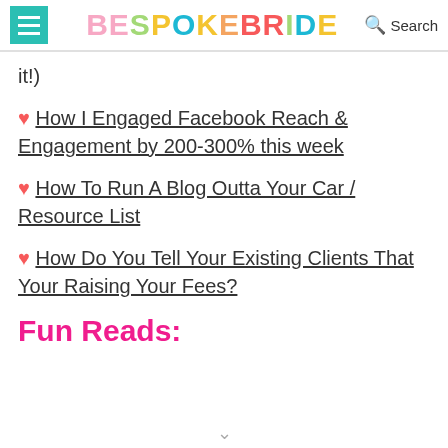BESPOKE BRIDE | Search
it!)
♥ How I Engaged Facebook Reach & Engagement by 200-300% this week
♥ How To Run A Blog Outta Your Car / Resource List
♥ How Do You Tell Your Existing Clients That Your Raising Your Fees?
Fun Reads: